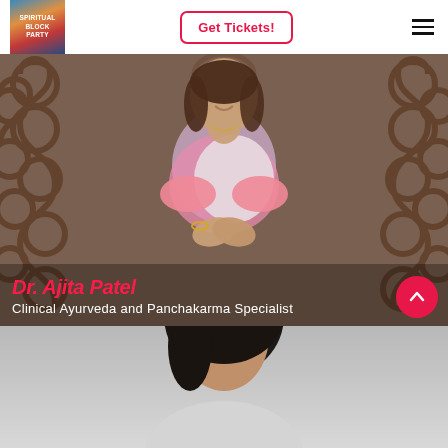Spiritual Block Party — Get Tickets! navigation header
[Figure (photo): Dr. Ajita Patel, a woman in a pink and white sari, smiling with hands pressed together in a namaste gesture, standing in front of ornate brown ironwork scroll gate]
Dr. Ajita Patel
Clinical Ayurveda and Panchakarma Specialist
[Figure (photo): Partial view of a second person with dark hair, bottom portion of page]